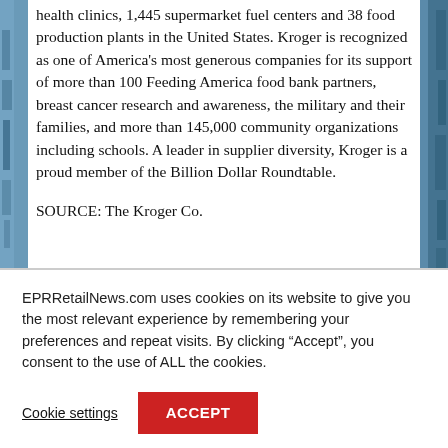health clinics, 1,445 supermarket fuel centers and 38 food production plants in the United States. Kroger is recognized as one of America's most generous companies for its support of more than 100 Feeding America food bank partners, breast cancer research and awareness, the military and their families, and more than 145,000 community organizations including schools. A leader in supplier diversity, Kroger is a proud member of the Billion Dollar Roundtable.
SOURCE: The Kroger Co.
EPRRetailNews.com uses cookies on its website to give you the most relevant experience by remembering your preferences and repeat visits. By clicking “Accept”, you consent to the use of ALL the cookies.